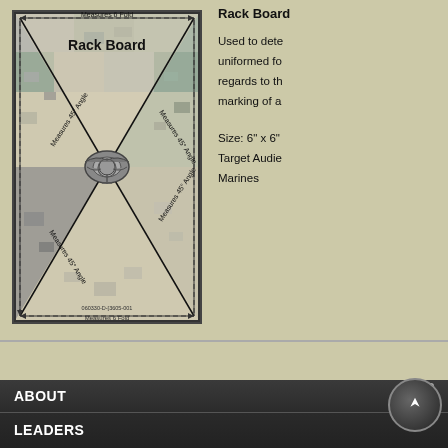[Figure (illustration): Rack Board diagram showing a square diagram with camouflage pattern background, diagonal lines marking 45-degree angles and measurements labeled 'Measures 6 Fold' and 'Measures 45° Angle', with a Marine Corps Eagle Globe and Anchor emblem in the center. Title 'Rack Board' at top.]
Rack Board
Used to dete... uniformed fo... regards to th... marking of a...
Size: 6" x 6"
Target Audie...
Marines
ABOUT
LEADERS